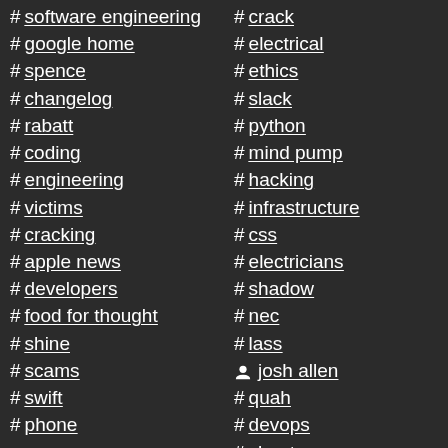# software engineering
# google home
# spence
# changelog
# rabatt
# coding
# engineering
# victims
# cracking
# apple news
# developers
# food for thought
# shine
# scams
# swift
# phone
# crack
# electrical
# ethics
# slack
# python
# mind pump
# hacking
# infrastructure
# css
# electricians
# shadow
# nec
# lass
josh allen
# quah
# devops
# shoot
# cha